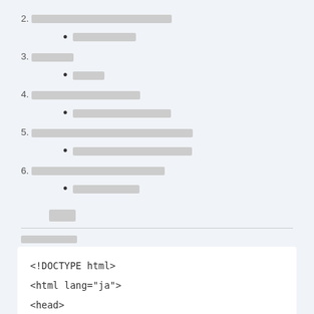2. [redacted section title]
[redacted bullet]
3. [redacted section title]
[redacted bullet]
4. [redacted section title]
[redacted bullet]
5. [redacted section title]
[redacted bullet]
6. [redacted section title]
[redacted bullet]
[redacted]
[redacted label]
<!DOCTYPE html>
<html lang="ja">
<head>